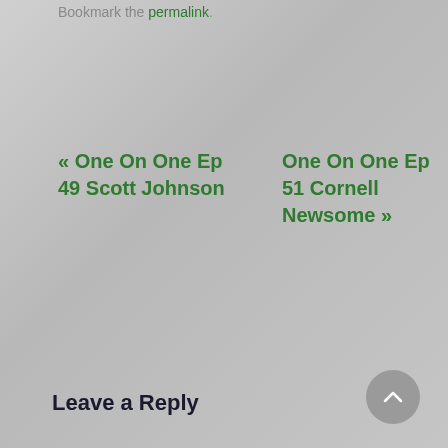Bookmark the permalink.
« One On One Ep 49 Scott Johnson
One On One Ep 51 Cornell Newsome »
Leave a Reply
Comment *
[Figure (screenshot): Comment text area input box (white rectangle)]